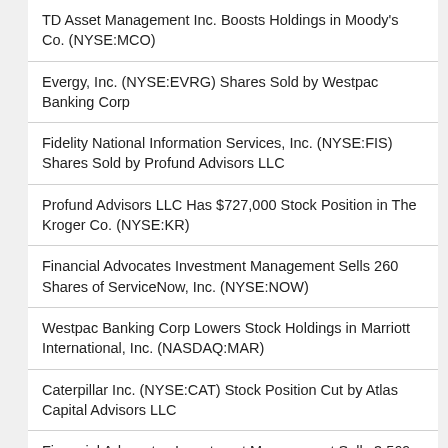TD Asset Management Inc. Boosts Holdings in Moody's Co. (NYSE:MCO)
Evergy, Inc. (NYSE:EVRG) Shares Sold by Westpac Banking Corp
Fidelity National Information Services, Inc. (NYSE:FIS) Shares Sold by Profund Advisors LLC
Profund Advisors LLC Has $727,000 Stock Position in The Kroger Co. (NYSE:KR)
Financial Advocates Investment Management Sells 260 Shares of ServiceNow, Inc. (NYSE:NOW)
Westpac Banking Corp Lowers Stock Holdings in Marriott International, Inc. (NASDAQ:MAR)
Caterpillar Inc. (NYSE:CAT) Stock Position Cut by Atlas Capital Advisors LLC
Financial Advocates Investment Management Sells 3,569 Shares of Delta Air Lines, Inc. (NYSE:DAL)